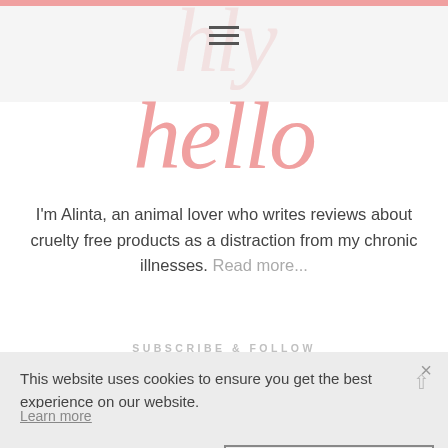[Figure (screenshot): Pink top navigation bar with hamburger menu icon and faint watermark script text]
hello
I'm Alinta, an animal lover who writes reviews about cruelty free products as a distraction from my chronic illnesses. Read more...
SUBSCRIBE & FOLLOW
[Figure (other): Social media icons row: Facebook, Instagram, Twitter, Pinterest, Plus]
This website uses cookies to ensure you get the best experience on our website.
Learn more
Decline   Accept
Subscribe to the Mailing List